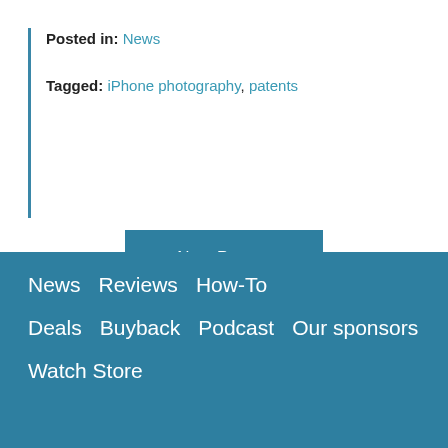Posted in: News
Tagged: iPhone photography, patents
Next Page »
News   Reviews   How-To   Deals   Buyback   Podcast   Our sponsors   Watch Store